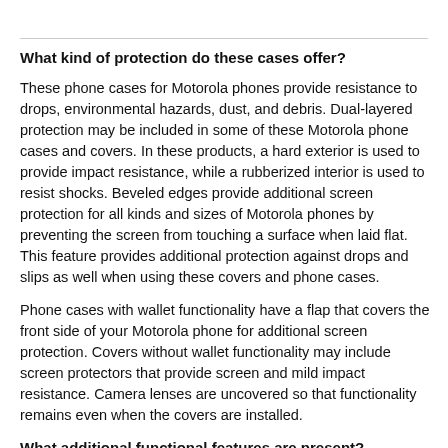What kind of protection do these cases offer?
These phone cases for Motorola phones provide resistance to drops, environmental hazards, dust, and debris. Dual-layered protection may be included in some of these Motorola phone cases and covers. In these products, a hard exterior is used to provide impact resistance, while a rubberized interior is used to resist shocks. Beveled edges provide additional screen protection for all kinds and sizes of Motorola phones by preventing the screen from touching a surface when laid flat. This feature provides additional protection against drops and slips as well when using these covers and phone cases.
Phone cases with wallet functionality have a flap that covers the front side of your Motorola phone for additional screen protection. Covers without wallet functionality may include screen protectors that provide screen and mild impact resistance. Camera lenses are uncovered so that functionality remains even when the covers are installed.
What additional functional features are present?